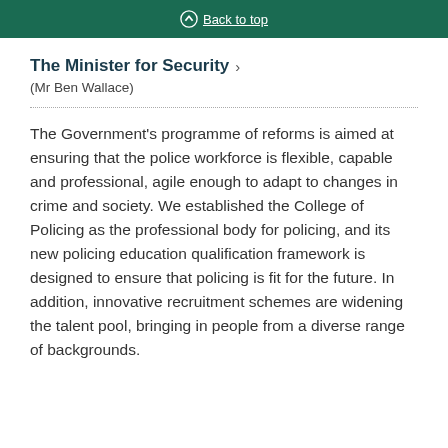Back to top
The Minister for Security
(Mr Ben Wallace)
The Government's programme of reforms is aimed at ensuring that the police workforce is flexible, capable and professional, agile enough to adapt to changes in crime and society. We established the College of Policing as the professional body for policing, and its new policing education qualification framework is designed to ensure that policing is fit for the future. In addition, innovative recruitment schemes are widening the talent pool, bringing in people from a diverse range of backgrounds.